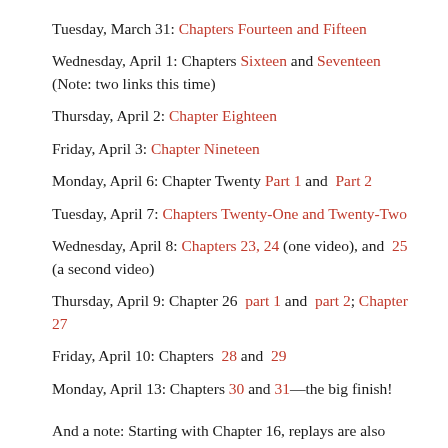Tuesday, March 31: Chapters Fourteen and Fifteen
Wednesday, April 1: Chapters Sixteen and Seventeen (Note: two links this time)
Thursday, April 2: Chapter Eighteen
Friday, April 3: Chapter Nineteen
Monday, April 6: Chapter Twenty Part 1 and Part 2
Tuesday, April 7: Chapters Twenty-One and Twenty-Two
Wednesday, April 8: Chapters 23, 24 (one video), and 25 (a second video)
Thursday, April 9: Chapter 26 part 1 and part 2; Chapter 27
Friday, April 10: Chapters 28 and 29
Monday, April 13: Chapters 30 and 31—the big finish!
And a note: Starting with Chapter 16, replays are also available on TP-Aion. There are replays of all videos, going back to the beginning of the semester.